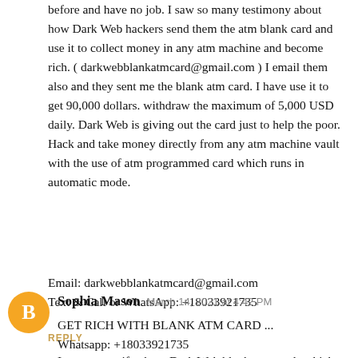before and have no job. I saw so many testimony about how Dark Web hackers send them the atm blank card and use it to collect money in any atm machine and become rich. ( darkwebblankatmcard@gmail.com ) I email them also and they sent me the blank atm card. I have use it to get 90,000 dollars. withdraw the maximum of 5,000 USD daily. Dark Web is giving out the card just to help the poor. Hack and take money directly from any atm machine vault with the use of atm programmed card which runs in automatic mode.
Email: darkwebblankatmcard@gmail.com
Text & Call or WhatsApp: +18033921735
REPLY
[Figure (other): Orange circular avatar icon with white blogger 'B' logo]
Sophia Mason  March 14, 2021 at 4:42 PM
GET RICH WITH BLANK ATM CARD ...
Whatsapp: +18033921735
I want to testify about Dark Web blank atm cards which can withdraw money from any atm